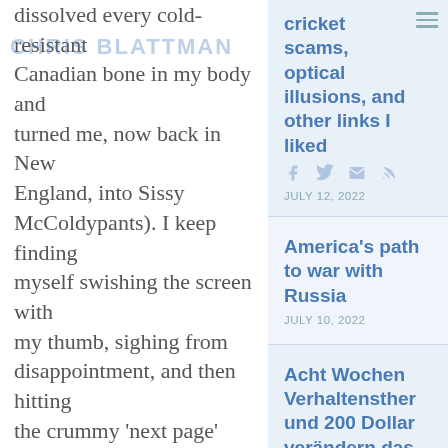dissolved every cold-resistant Canadian bone in my body and turned me, now back in New England, into Sissy McColdypants). I keep finding myself swishing the screen with my thumb, sighing from disappointment, and then hitting the crummy 'next page' button.
Cro-magnon button-punching aside, the Kindle is surprisingly pleasant to read. It fits easily in backpacks, usually nestled up to my laptop. I got the big 'un, the 9.7 inch DX, but I think I would have been nearly as pleased with the standard 6 inch, at least for fiction. New 6
cricket scams, optical illusions, and other links I liked
JULY 12, 2022
America's path to war with Russia
JULY 10, 2022
Acht Wochen Verhaltensther und 200 Dollar verändern das Leben gewalttätiger